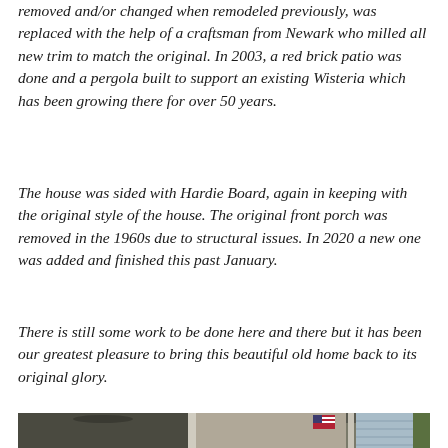removed and/or changed when remodeled previously, was replaced with the help of a craftsman from Newark who milled all new trim to match the original. In 2003, a red brick patio was done and a pergola built to support an existing Wisteria which has been growing there for over 50 years.
The house was sided with Hardie Board, again in keeping with the original style of the house. The original front porch was removed in the 1960s due to structural issues. In 2020 a new one was added and finished this past January.
There is still some work to be done here and there but it has been our greatest pleasure to bring this beautiful old home back to its original glory.
[Figure (photo): A photograph showing a covered front porch with columns and ceiling fans. An American flag is visible in the middle. To the right is the exterior of a neighboring house with light blue siding.]